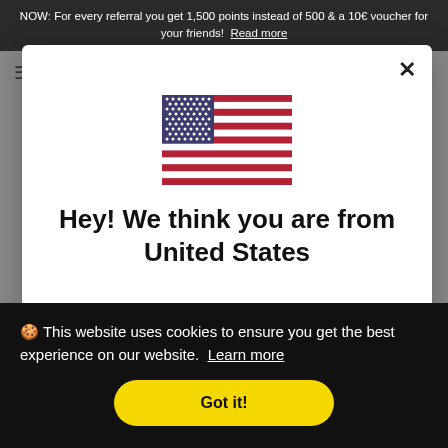NOW: For every referral you get 1,500 points instead of 500 & a 10€ voucher for your friends! Read more
[Figure (illustration): US flag SVG illustration centered in a white modal popup]
Hey! We think you are from United States
🍪 This website uses cookies to ensure you get the best experience on our website. Learn more
Got it!